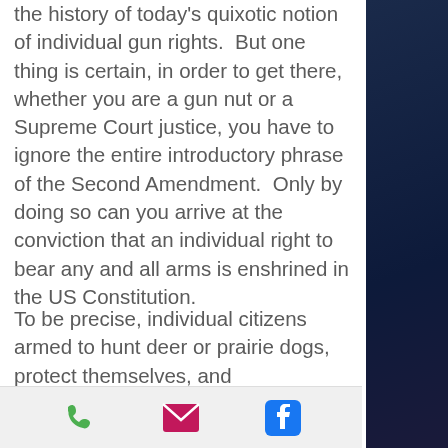the history of today's quixotic notion of individual gun rights.  But one thing is certain, in order to get there, whether you are a gun nut or a Supreme Court justice, you have to ignore the entire introductory phrase of the Second Amendment.  Only by doing so can you arrive at the conviction that an individual right to bear any and all arms is enshrined in the US Constitution.
To be precise, individual citizens armed to hunt deer or prairie dogs, protect themselves, and indiscriminately kill and maim other humans, is the antithesis of any
[Figure (other): Mobile app toolbar with three icons: green phone icon, pink/red envelope icon, and blue Facebook icon]